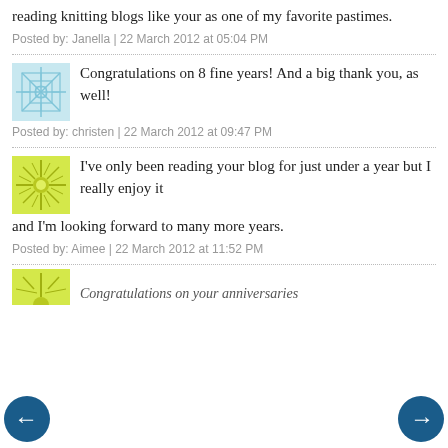reading knitting blogs like your as one of my favorite pastimes.
Posted by: Janella | 22 March 2012 at 05:04 PM
[Figure (illustration): Blue geometric/snowflake pattern avatar icon]
Congratulations on 8 fine years! And a big thank you, as well!
Posted by: christen | 22 March 2012 at 09:47 PM
[Figure (illustration): Green sunburst/starburst pattern avatar icon]
I've only been reading your blog for just under a year but I really enjoy it and I'm looking forward to many more years.
Posted by: Aimee | 22 March 2012 at 11:52 PM
[Figure (illustration): Green sunburst/starburst pattern avatar icon (partially visible at bottom)]
Congratulations on your anniversaries